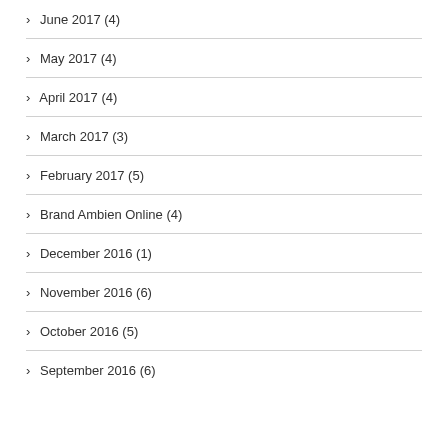› June 2017 (4)
› May 2017 (4)
› April 2017 (4)
› March 2017 (3)
› February 2017 (5)
› Brand Ambien Online (4)
› December 2016 (1)
› November 2016 (6)
› October 2016 (5)
› September 2016 (6)